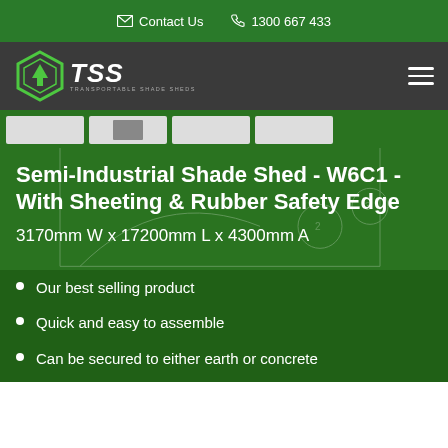Contact Us   1300 667 433
[Figure (logo): TSS Transportable Shade Sheds logo with hexagonal icon and hamburger menu]
[Figure (photo): Thumbnail strip showing four product images]
Semi-Industrial Shade Shed - W6C1 - With Sheeting & Rubber Safety Edge
3170mm W x 17200mm L x 4300mm A
Our best selling product
Quick and easy to assemble
Can be secured to either earth or concrete